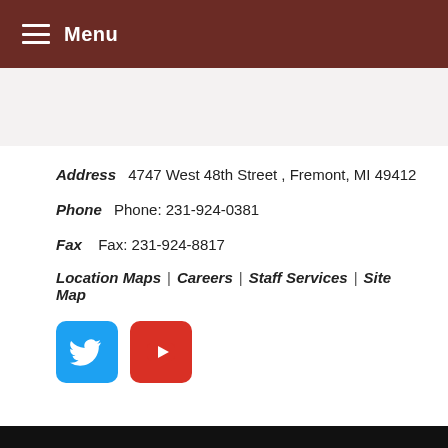Menu
Address  4747 West 48th Street , Fremont, MI 49412
Phone  Phone: 231-924-0381
Fax  Fax: 231-924-8817
Location Maps | Careers | Staff Services | Site Map
[Figure (logo): Twitter bird icon (blue rounded square) and YouTube play button icon (red rounded square)]